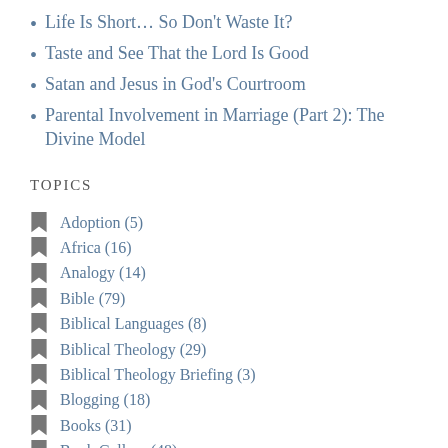Life Is Short… So Don't Waste It?
Taste and See That the Lord Is Good
Satan and Jesus in God's Courtroom
Parental Involvement in Marriage (Part 2): The Divine Model
Topics
Adoption (5)
Africa (16)
Analogy (14)
Bible (79)
Biblical Languages (8)
Biblical Theology (29)
Biblical Theology Briefing (3)
Blogging (18)
Books (31)
Book Gallery (48)